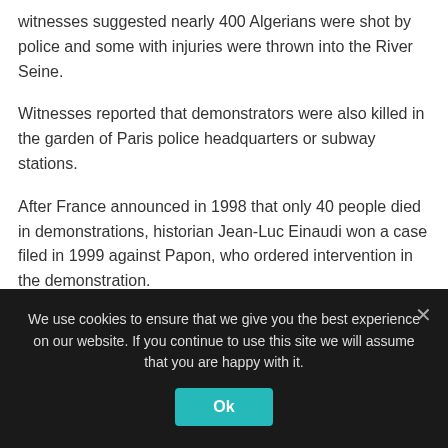witnesses suggested nearly 400 Algerians were shot by police and some with injuries were thrown into the River Seine.
Witnesses reported that demonstrators were also killed in the garden of Paris police headquarters or subway stations.
After France announced in 1998 that only 40 people died in demonstrations, historian Jean-Luc Einaudi won a case filed in 1999 against Papon, who ordered intervention in the demonstration.
Even though it became official that the massacre was
We use cookies to ensure that we give you the best experience on our website. If you continue to use this site we will assume that you are happy with it.